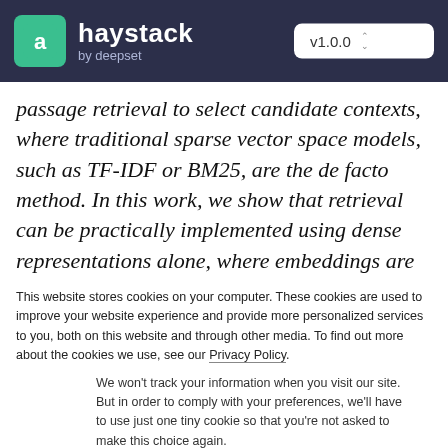haystack by deepset — v1.0.0
passage retrieval to select candidate contexts, where traditional sparse vector space models, such as TF-IDF or BM25, are the de facto method. In this work, we show that retrieval can be practically implemented using dense representations alone, where embeddings are learned from a small number of questions and passages by a
This website stores cookies on your computer. These cookies are used to improve your website experience and provide more personalized services to you, both on this website and through other media. To find out more about the cookies we use, see our Privacy Policy.
We won't track your information when you visit our site. But in order to comply with your preferences, we'll have to use just one tiny cookie so that you're not asked to make this choice again.
Accept | Decline